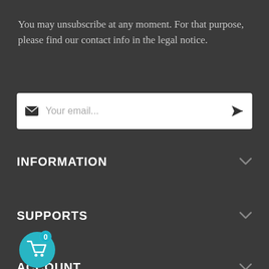You may unsubscribe at any moment. For that purpose, please find our contact info in the legal notice.
Your email...
INFORMATION
SUPPORTS
ACCOUNT
[Figure (illustration): Shopping cart icon with teal circle background and a badge showing '0']